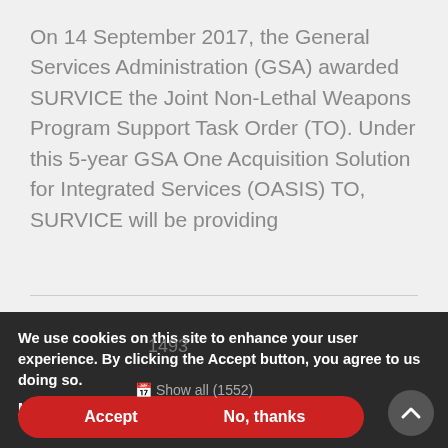On 14 September 2017, the General Services Administration (GSA) awarded SURVICE the Joint Non-Lethal Weapons Program Support Task Order (TO). Under this 5-year GSA One Acquisition Solution for Integrated Services (OASIS) TO, SURVICE will be providing
We use cookies on this site to enhance your user experience. By clicking the Accept button, you agree to us doing so.
More info
Show all (1552)
Accept
No, thanks